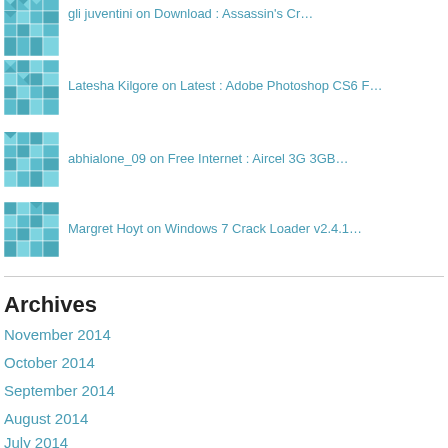[Figure (illustration): Teal mosaic/quilt pattern avatar (partially visible at top)]
gli juventini on Download : Assassin's Cr…
[Figure (illustration): Teal mosaic/quilt pattern avatar]
Latesha Kilgore on Latest : Adobe Photoshop CS6 F…
[Figure (illustration): Teal mosaic/quilt pattern avatar]
abhialone_09 on Free Internet : Aircel 3G 3GB…
[Figure (illustration): Teal mosaic/quilt pattern avatar]
Margret Hoyt on Windows 7 Crack Loader v2.4.1…
Archives
November 2014
October 2014
September 2014
August 2014
July 2014